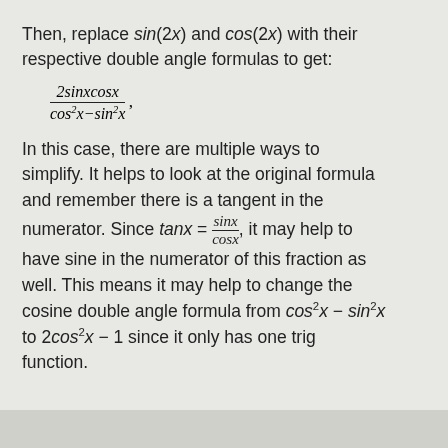Then, replace sin(2x) and cos(2x) with their respective double angle formulas to get:
In this case, there are multiple ways to simplify. It helps to look at the original formula and remember there is a tangent in the numerator. Since tanx = sinx/cosx, it may help to have sine in the numerator of this fraction as well. This means it may help to change the cosine double angle formula from cos²x − sin²x to 2cos²x − 1 since it only has one trig function.